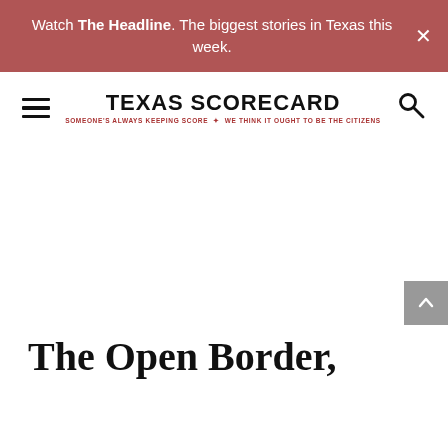Watch The Headline. The biggest stories in Texas this week.
[Figure (logo): Texas Scorecard logo with hamburger menu and search icon. Logo reads TEXAS SCORECARD with tagline SOMEONE'S ALWAYS KEEPING SCORE — WE THINK IT OUGHT TO BE THE CITIZENS]
The Open Border,